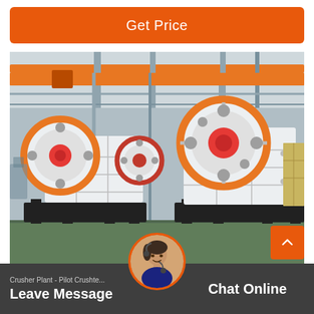Get Price
[Figure (photo): Industrial jaw crusher machines with orange/red flywheels in a factory/warehouse setting with overhead crane and steel structure. Two large jaw crushers on black bases, white painted bodies, large circular flywheels with orange rims.]
[Figure (photo): Customer service avatar icon - woman with headset]
Crusher Plant - Pilot Crushte...
Leave Message
Chat Online
Pilot Crushter International offers plant planning, equipment...